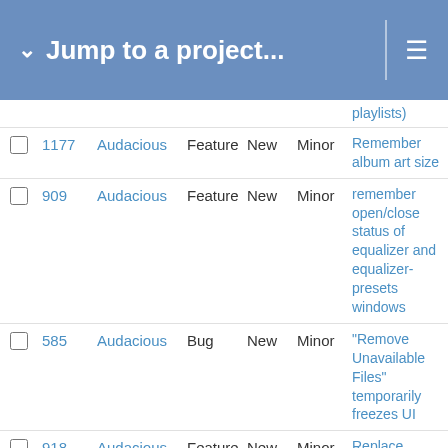Jump to a project...
|  | ID | Project | Type | Status | Severity | Description |
| --- | --- | --- | --- | --- | --- | --- |
|  |  |  |  |  |  | playlists) |
| ☐ | 1177 | Audacious | Feature | New | Minor | Remember album art size |
| ☐ | 909 | Audacious | Feature | New | Minor | remember open/close status of equalizer and equalizer-presets windows |
| ☐ | 585 | Audacious | Bug | New | Minor | "Remove Unavailable Files" temporarily freezes UI |
| ☐ | 918 | Audacious | Feature | New | Minor | Replace libguess with libuchardet |
| ☐ | 1097 | Audacious | Feature | New | Minor | Replace the volume button with a horizontal scale |
| ☐ | 1013 | Audacious | Feature | New | Minor | Request re Album Art using music file metatag |
| ☐ | 1092 | Audacious | Feature | New | Minor | Reread metadata... |